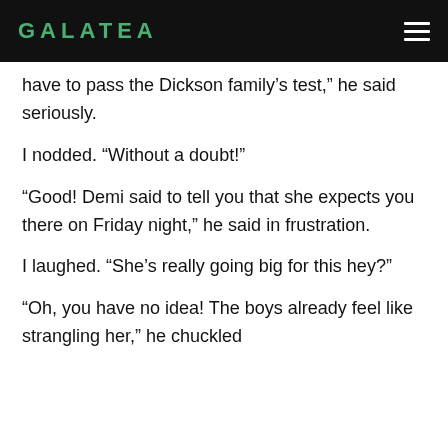GALATEA
have to pass the Dickson family’s test,” he said seriously.
I nodded. “Without a doubt!”
“Good! Demi said to tell you that she expects you there on Friday night,” he said in frustration.
I laughed. “She’s really going big for this hey?”
“Oh, you have no idea! The boys already feel like strangling her,” he chuckled